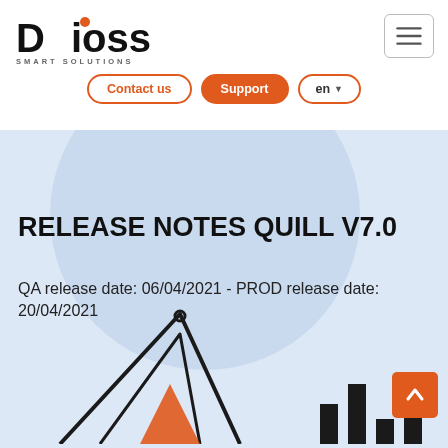[Figure (logo): Dioss Smart Solutions logo with orange dot over the 'i' in Dioss and tagline SMART SOLUTIONS below]
[Figure (other): Hamburger menu button (three horizontal lines) in a rounded rectangle border]
[Figure (other): Navigation buttons: Contact us (outline), Support (filled orange), en dropdown (outline)]
RELEASE NOTES QUILL V7.0
QA release date: 06/04/2021 - PROD release date: 20/04/2021
[Figure (illustration): Partial illustration of a stylized quill/pen icon with orange and black outlines, plus bar chart elements at bottom right, on a light blue background]